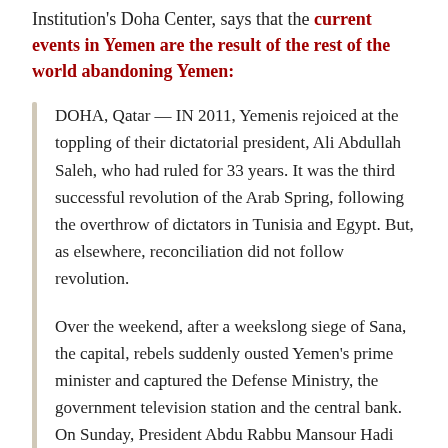Institution's Doha Center, says that the current events in Yemen are the result of the rest of the world abandoning Yemen:
DOHA, Qatar — IN 2011, Yemenis rejoiced at the toppling of their dictatorial president, Ali Abdullah Saleh, who had ruled for 33 years. It was the third successful revolution of the Arab Spring, following the overthrow of dictators in Tunisia and Egypt. But, as elsewhere, reconciliation did not follow revolution.
Over the weekend, after a weekslong siege of Sana, the capital, rebels suddenly ousted Yemen's prime minister and captured the Defense Ministry, the government television station and the central bank. On Sunday, President Abdu Rabbu Mansour Hadi signed an agreement dictated by the rebels, known as the Houthis, and facilitated by a United